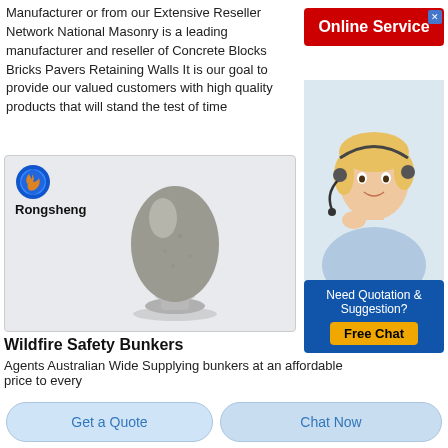Manufacturer or from our Extensive Reseller Network National Masonry is a leading manufacturer and reseller of Concrete Blocks Bricks Pavers Retaining Walls It is our goal to provide our valued customers with high quality products that will stand the test of time
[Figure (screenshot): Online Service banner with red background and white bold text]
[Figure (photo): Female customer service advisor wearing headset, smiling]
[Figure (infographic): Need Quotation & Suggestion? Free Chat button on dark blue background]
[Figure (photo): Rongsheng branded product image showing a gray egg-shaped powder mound on a pedestal with Firefox-like logo]
Wildfire Safety Bunkers
Agents Australian Wide Supplying bunkers at an affordable price to every
Get a Quote
Chat Now